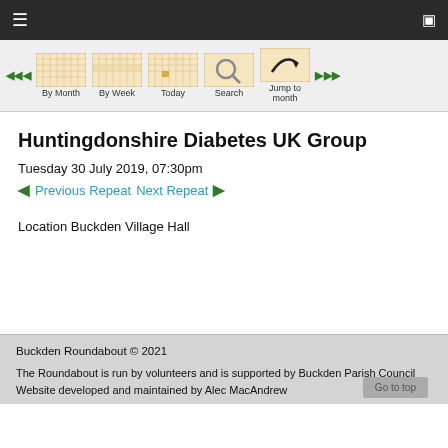Navigation bar with hamburger menu and monitor icon
[Figure (screenshot): Calendar navigation strip with By Month, By Week, Today, Search, Jump to month options and back/forward arrows]
Huntingdonshire Diabetes UK Group
Tuesday 30 July 2019, 07:30pm
Previous Repeat   Next Repeat
Location Buckden Village Hall
Buckden Roundabout © 2021
The Roundabout is run by volunteers and is supported by Buckden Parish Council
Website developed and maintained by Alec MacAndrew